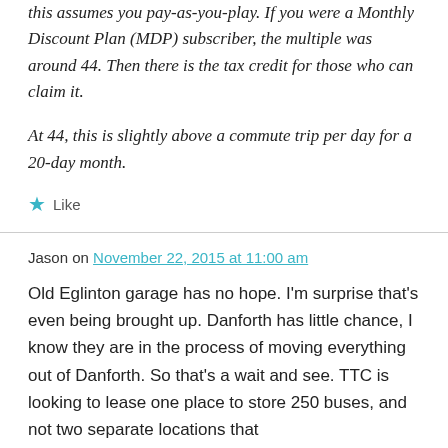this assumes you pay-as-you-play. If you were a Monthly Discount Plan (MDP) subscriber, the multiple was around 44. Then there is the tax credit for those who can claim it.
At 44, this is slightly above a commute trip per day for a 20-day month.
★ Like
Jason on November 22, 2015 at 11:00 am
Old Eglinton garage has no hope. I'm surprise that's even being brought up. Danforth has little chance, I know they are in the process of moving everything out of Danforth. So that's a wait and see. TTC is looking to lease one place to store 250 buses, and not two separate locations that